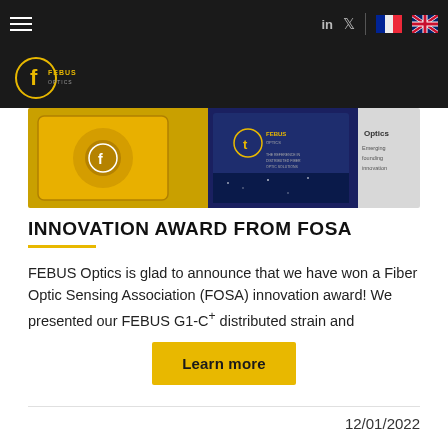FEBUS Optics navigation bar with hamburger menu, LinkedIn, Twitter icons, French and UK flags
[Figure (logo): FEBUS Optics logo — circular yellow icon with letter f and FEBUS OPTICS text on dark background]
[Figure (photo): Hero image showing FEBUS Optics equipment — yellow carrying case and blue branded display stand at a trade show or exhibition]
INNOVATION AWARD FROM FOSA
FEBUS Optics is glad to announce that we have won a Fiber Optic Sensing Association (FOSA) innovation award! We presented our FEBUS G1-C+ distributed strain and
Learn more
12/01/2022